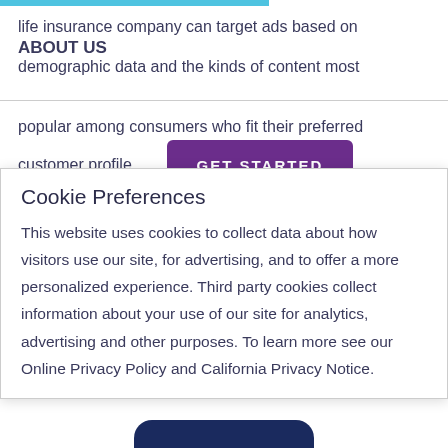life insurance company can target ads based on
ABOUT US
demographic data and the kinds of content most popular among consumers who fit their preferred customer profile.
[Figure (screenshot): GET STARTED button in purple/violet color]
Cookie Preferences
This website uses cookies to collect data about how visitors use our site, for advertising, and to offer a more personalized experience. Third party cookies collect information about your use of our site for analytics, advertising and other purposes. To learn more see our Online Privacy Policy and California Privacy Notice.